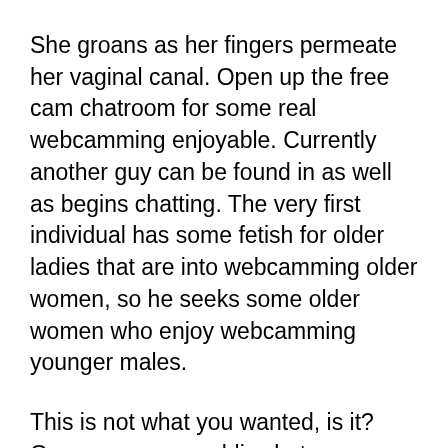She groans as her fingers permeate her vaginal canal. Open up the free cam chatroom for some real webcamming enjoyable. Currently another guy can be found in as well as begins chatting. The very first individual has some fetish for older ladies that are into webcamming older women, so he seeks some older women who enjoy webcamming younger males.
This is not what you wanted, is it? Open one more public chat room. This is where you will certainly find webcam ladies in real life. The very first genuine web cam lady comes and also begins talking with this individual. She starts informing him concerning her cam porn movies, she likes the way her boobs